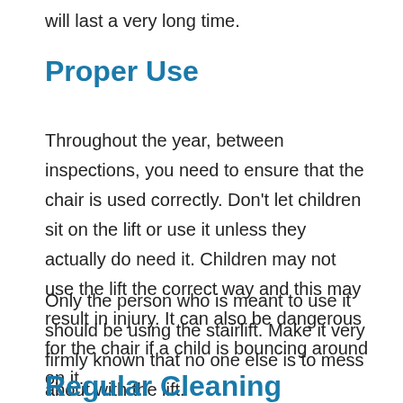will last a very long time.
Proper Use
Throughout the year, between inspections, you need to ensure that the chair is used correctly. Don't let children sit on the lift or use it unless they actually do need it. Children may not use the lift the correct way and this may result in injury. It can also be dangerous for the chair if a child is bouncing around on it.
Only the person who is meant to use it should be using the stairlift. Make it very firmly known that no one else is to mess about with the lift.
Regular Cleaning